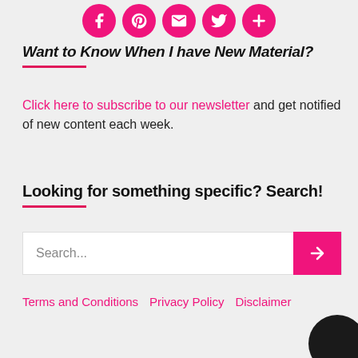[Figure (other): Row of 5 pink circular social media icon buttons: Facebook, Pinterest, Email, Twitter, Plus/More]
Want to Know When I have New Material?
Click here to subscribe to our newsletter and get notified of new content each week.
Looking for something specific? Search!
[Figure (other): Search input box with placeholder text 'Search...' and a pink arrow button on the right]
Terms and Conditions   Privacy Policy   Disclaimer